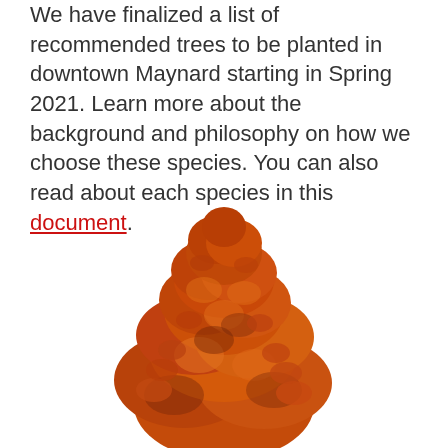We have finalized a list of recommended trees to be planted in downtown Maynard starting in Spring 2021. Learn more about the background and philosophy on how we choose these species. You can also read about each species in this document.
[Figure (photo): A tree with dense orange-red autumn foliage, shown against a white background, conical/oval shape suggesting a deciduous tree in fall color.]